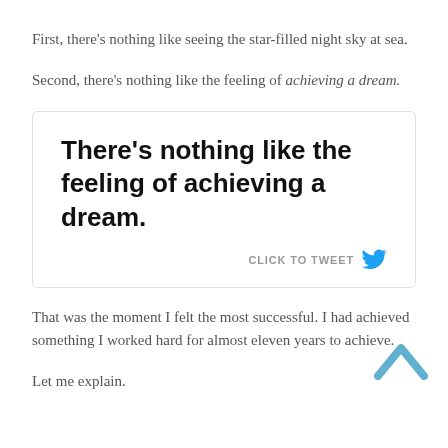First, there's nothing like seeing the star-filled night sky at sea.
Second, there's nothing like the feeling of achieving a dream.
[Figure (other): Tweet quote box with text 'There's nothing like the feeling of achieving a dream.' and a 'CLICK TO TWEET' button with Twitter bird icon]
That was the moment I felt the most successful. I had achieved something I worked hard for almost eleven years to achieve.
Let me explain.